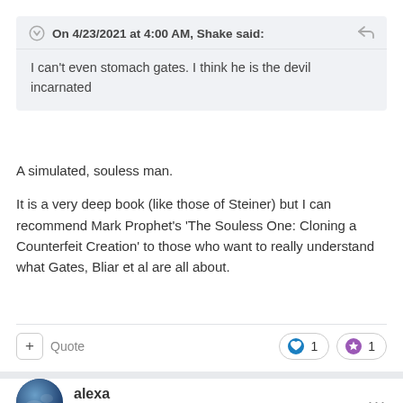On 4/23/2021 at 4:00 AM, Shake said:
I can't even stomach gates. I think he is the devil incarnated
A simulated, souless man.
It is a very deep book (like those of Steiner) but I can recommend Mark Prophet's 'The Souless One: Cloning a Counterfeit Creation' to those who want to really understand what Gates, Bliar et al are all about.
alexa
Posted April 23, 2021